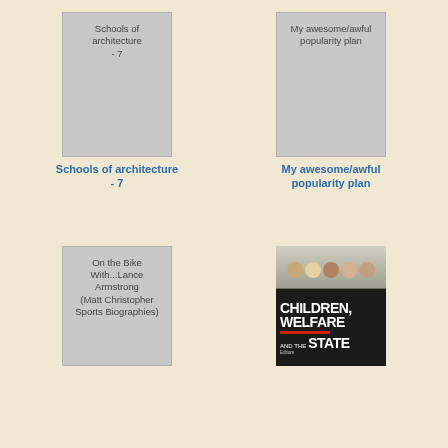[Figure (illustration): Book cover placeholder for 'Schools of architecture - 7', gray rectangle with title text at top]
Schools of architecture - 7
[Figure (illustration): Book cover placeholder for 'My awesome/awful popularity plan', gray rectangle with title text at top]
My awesome/awful popularity plan
[Figure (illustration): Book cover placeholder for 'On the Bike With...Lance Armstrong (Matt Christopher Sports Biographies)', gray rectangle with title text]
[Figure (illustration): Book cover image for 'Children, Welfare and the State' showing children's faces and bold white text on dark background with red underline bar]